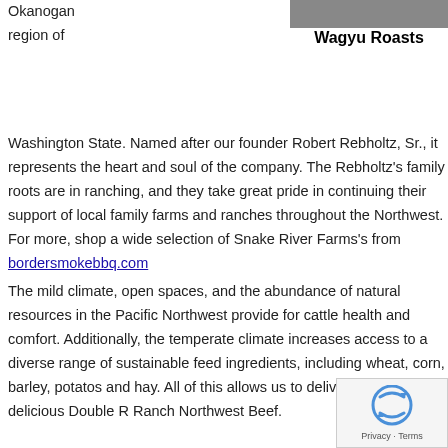[Figure (photo): Partial photo of Wagyu Roasts at the top right of the page]
Wagyu Roasts
Okanogan region of Washington State. Named after our founder Robert Rebholtz, Sr., it represents the heart and soul of the company. The Rebholtz's family roots are in ranching, and they take great pride in continuing their support of local family farms and ranches throughout the Northwest. For more, shop a wide selection of Snake River Farms's from bordersmokebbq.com
The mild climate, open spaces, and the abundance of natural resources in the Pacific Northwest provide for cattle health and comfort. Additionally, the temperate climate increases access to a diverse range of sustainable feed ingredients, including wheat, corn, barley, potatoes and hay. All of this allows us to deliver consistently delicious Double R Ranch Northwest Beef.
[Figure (other): reCAPTCHA privacy badge in bottom right corner]